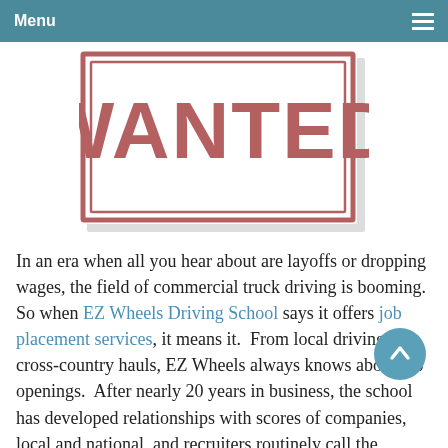Menu
[Figure (illustration): A 'WANTED' poster style image with bold red-brown block letters spelling 'WANTED' inside a rectangular border on a white background.]
In an era when all you hear about are layoffs or dropping wages, the field of commercial truck driving is booming.  So when EZ Wheels Driving School says it offers job placement services, it means it.  From local driving to cross-country hauls, EZ Wheels always knows about job openings.  After nearly 20 years in business, the school has developed relationships with scores of companies, local and national, and recruiters routinely call the school, hoping to fill open positions.